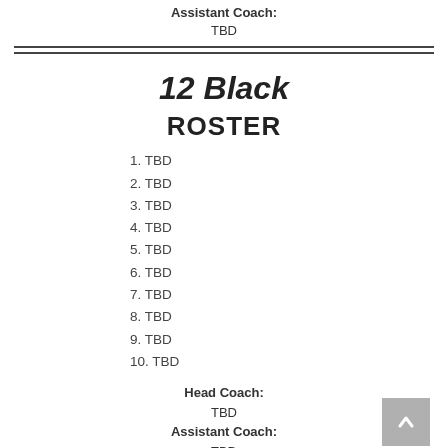Assistant Coach:
TBD
12 Black
ROSTER
1. TBD
2. TBD
3. TBD
4. TBD
5. TBD
6. TBD
7. TBD
8. TBD
9. TBD
10. TBD
Head Coach:
TBD
Assistant Coach:
TBD
11 Red